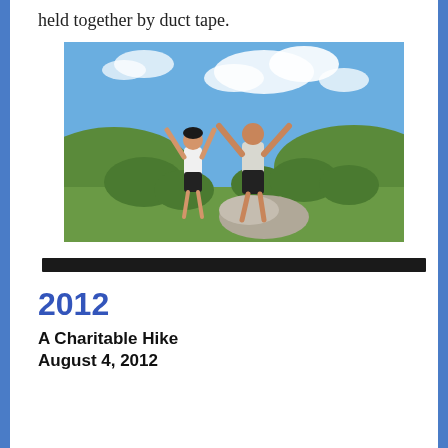held together by duct tape.
[Figure (photo): Two people standing on a rocky hilltop with arms raised in a Y shape, wearing athletic clothing, with green hills and blue sky in background.]
2012
A Charitable Hike
August 4, 2012